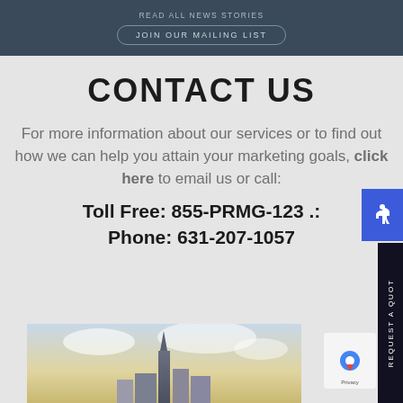READ ALL NEWS STORIES
JOIN OUR MAILING LIST
CONTACT US
For more information about our services or to find out how we can help you attain your marketing goals, click here to email us or call:
Toll Free: 855-PRMG-123 .: Phone: 631-207-1057
[Figure (photo): Photo of a city skyline with a tall spire building against a cloudy sky]